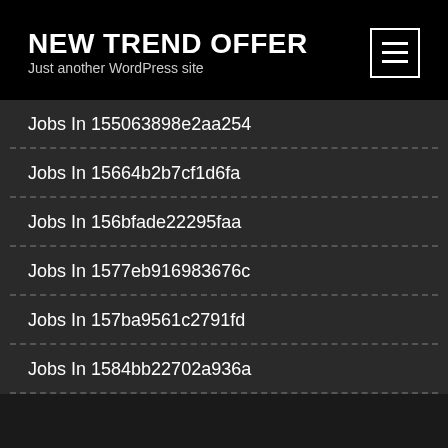NEW TREND OFFER
Just another WordPress site
Jobs In 155063898e2aa254
Jobs In 15664b2b7cf1d6fa
Jobs In 156bfade22295faa
Jobs In 1577eb916983676c
Jobs In 157ba9561c2791fd
Jobs In 1584bb22702a936a